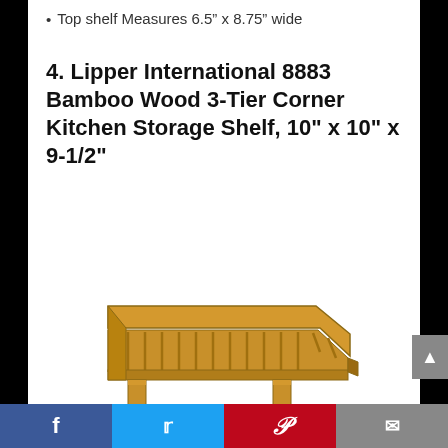Top shelf Measures 6.5” x 8.75” wide
4. Lipper International 8883 Bamboo Wood 3-Tier Corner Kitchen Storage Shelf, 10" x 10" x 9-1/2"
[Figure (photo): Bamboo wood 3-tier corner kitchen storage shelf viewed from above-front angle, showing slatted top shelf and two support legs]
Facebook | Twitter | Pinterest | Email (social sharing bar)